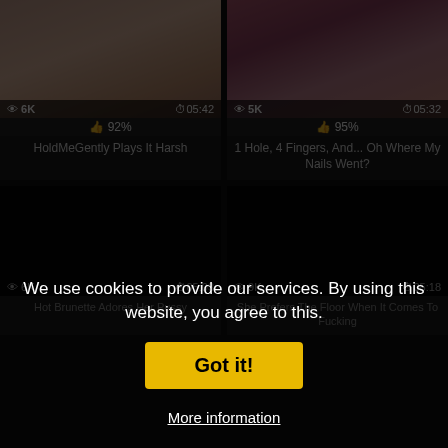[Figure (screenshot): Video thumbnail grid with two rows of adult content video cards, partially obscured by a cookie consent overlay]
6K | 05:42 | 92% | HoldMeGently Plays It Harsh
5K | 05:32 | 95% | 1 Hole, 4 Fingers, And... Oh Where My Nails Went?
6K | 05:03 | Hot Brunette Adores Her Pussy
9K | 05:18 | She Prefers The Floor When It Comes To Fucking
We use cookies to provide our services. By using this website, you agree to this.
Got it!
More information